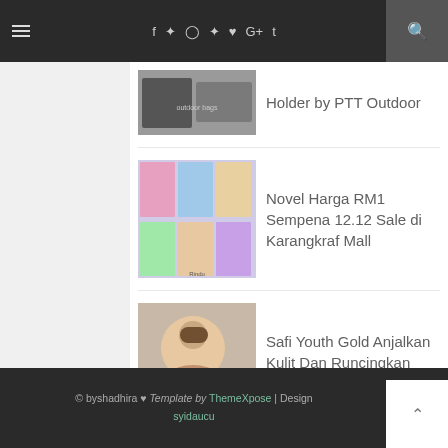Navigation bar with menu, social icons (f, twitter, instagram, pinterest, heart, g+, t), and search
Holder by PTT Outdoor
Novel Harga RM1 Sempena 12.12 Sale di Karangkraf Mall
Safi Youth Gold Anjalkan Kulit Dan Runcingkan Dagu
© byshadhira ♥ Template by ThemeXpose | Design syidaucu